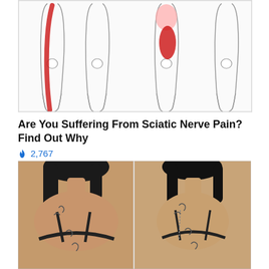[Figure (illustration): Medical diagram showing four pairs of human legs from the back, with red highlighted areas indicating sciatic nerve pain locations — one showing a long red streak down the full leg, one showing a red oval on the upper thigh/buttock area, and two with no highlighted areas.]
Are You Suffering From Sciatic Nerve Pain? Find Out Why
🔥 2,767
[Figure (photo): Before and after photos of a woman viewed from behind showing her back, wearing black underwear. Left photo shows before state, right photo shows after state. Both show tattoos on her back and shoulders.]